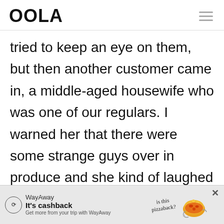OOLA
tried to keep an eye on them, but then another customer came in, a middle-aged housewife who was one of our regulars. I warned her that there were some strange guys over in produce and she kind of laughed it off, as anyone who
[Figure (other): WayAway advertisement banner with logo, 'It's cashback' text, pizza hedgehog illustration, and close button]